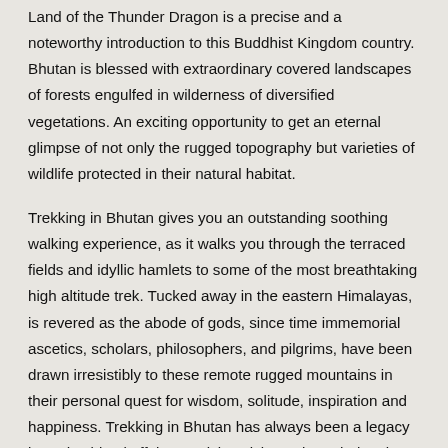Land of the Thunder Dragon is a precise and a noteworthy introduction to this Buddhist Kingdom country. Bhutan is blessed with extraordinary covered landscapes of forests engulfed in wilderness of diversified vegetations. An exciting opportunity to get an eternal glimpse of not only the rugged topography but varieties of wildlife protected in their natural habitat.
Trekking in Bhutan gives you an outstanding soothing walking experience, as it walks you through the terraced fields and idyllic hamlets to some of the most breathtaking high altitude trek. Tucked away in the eastern Himalayas, is revered as the abode of gods, since time immemorial ascetics, scholars, philosophers, and pilgrims, have been drawn irresistibly to these remote rugged mountains in their personal quest for wisdom, solitude, inspiration and happiness. Trekking in Bhutan has always been a legacy bound spiritual affair, surprising visitors about their culture and traditional lifestyle still intact and preserved through the centuries, and today...